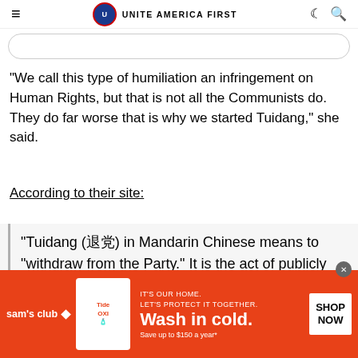UNITE AMERICA FIRST
“We call this type of humiliation an infringement on Human Rights, but that is not all the Communists do. They do far worse that is why we started Tuidang,” she said.
According to their site:
“Tuidang (退党) in Mandarin Chinese means to “withdraw from the Party.” It is the act of publicly renouncing the Chinese Communist Party (CCP) and its affiliate organizations: the
[Figure (screenshot): Sam's Club advertisement for Tide detergent: 'Wash in cold. Save up to $150 a year*. IT'S OUR HOME. LET'S PROTECT IT TOGETHER.' with SHOP NOW button.]